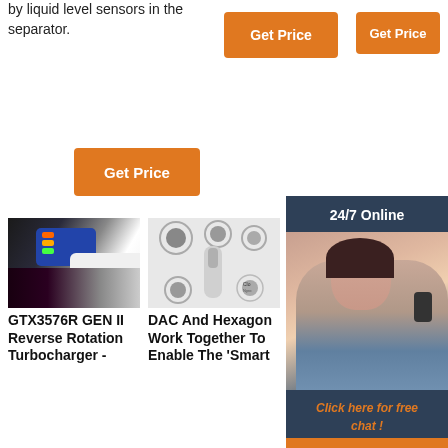by liquid level sensors in the separator.
Get Price
Get Price
Get Price
[Figure (screenshot): 24/7 Online chat overlay with customer service representative photo and QUOTATION button]
[Figure (photo): GTX3576R GEN II micro motor and handpiece equipment]
[Figure (photo): DAC And Hexagon dental handpiece with detail circular views]
[Figure (photo): GS dental system unit - partial view]
GTX3576R GEN II Reverse Rotation Turbocharger -
DAC And Hexagon Work Together To Enable The 'Smart
GS & GS Deluxe Dental System Manual - CenQuip